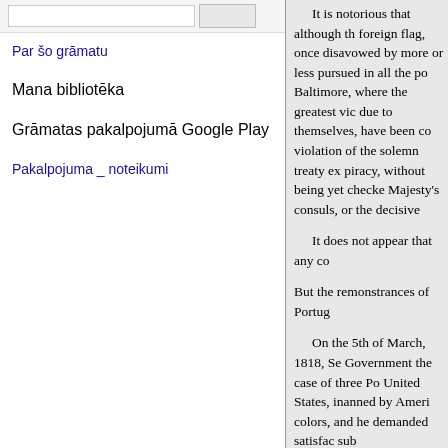Par šo grāmatu
Mana bibliotēka
Grāmatas pakalpojumā Google Play
Pakalpojuma _ noteikumi
It is notorious that although the foreign flag, once disavowed by more or less pursued in all the po Baltimore, where the greatest vic due to themselves, have been co violation of the solemn treaty ex piracy, without being yet checke Majesty's consuls, or the decisive
It does not appear that any co But the remonstrances of Portug
On the 5th of March, 1818, Se Government the case of three Po United States, inanned by Ameri colors, and he demanded satisfac sub
jects, as well as to the insult whi American Secretary of State.
after reciting the complaint of th States having used all the means cruise against any nation with wh enacted to preserve in violate the to indemnity individual foreign